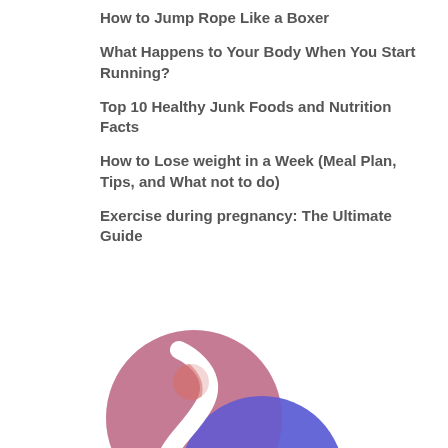How to Jump Rope Like a Boxer
What Happens to Your Body When You Start Running?
Top 10 Healthy Junk Foods and Nutrition Facts
How to Lose weight in a Week (Meal Plan, Tips, and What not to do)
Exercise during pregnancy: The Ultimate Guide
[Figure (logo): Two overlapping abstract yin-yang style circles, one salmon/rose pink on the upper left and one blue/indigo on the lower right, with a wavy white dividing line, forming an interlocking logo or brand mark.]